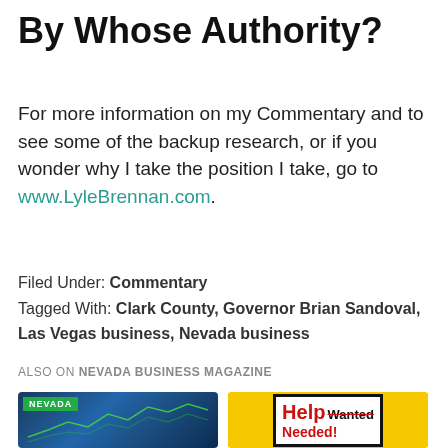By Whose Authority?
For more information on my Commentary and to see some of the backup research, or if you wonder why I take the position I take, go to www.LyleBrennan.com.
Filed Under: Commentary
Tagged With: Clark County, Governor Brian Sandoval, Las Vegas business, Nevada business
ALSO ON NEVADA BUSINESS MAGAZINE
[Figure (photo): Thumbnail image with NEVADA tag overlay showing stock market chart lines on blue background]
[Figure (photo): Thumbnail image showing Help Wanted sign with red and black text on yellow background]